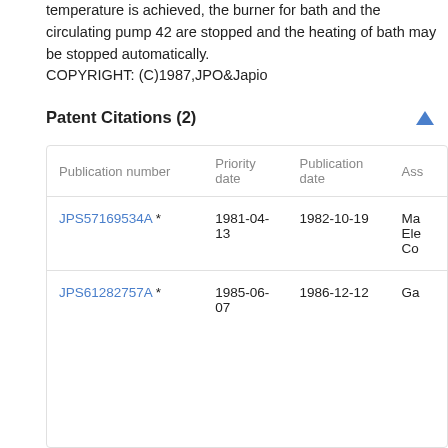temperature is achieved, the burner for bath and the circulating pump 42 are stopped and the heating of bath may be stopped automatically.
COPYRIGHT: (C)1987,JPO&Japio
Patent Citations (2)
| Publication number | Priority date | Publication date | Ass |
| --- | --- | --- | --- |
| JPS57169534A * | 1981-04-13 | 1982-10-19 | Ma
Ele
Co |
| JPS61282757A * | 1985-06-07 | 1986-12-12 | Ga |